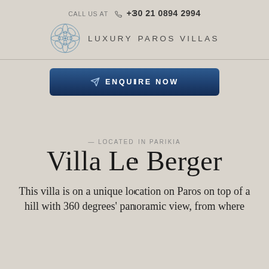CALL US AT  +30 21 0894 2994
[Figure (logo): Luxury Paros Villas decorative snowflake/mandala logo in blue, next to text LUXURY PAROS VILLAS]
[Figure (other): ENQUIRE NOW button with send/arrow icon, dark navy blue gradient background]
— LOCATED IN PARIKIA
Villa Le Berger
This villa is on a unique location on Paros on top of a hill with 360 degrees' panoramic view, from where